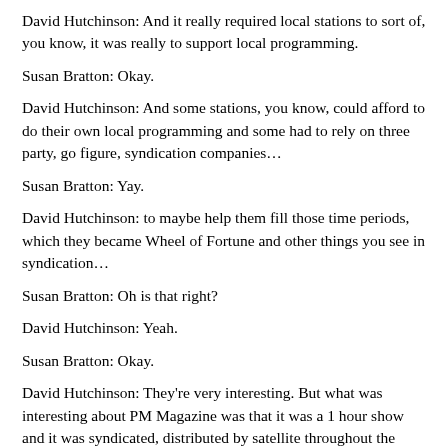David Hutchinson: And it really required local stations to sort of, you know, it was really to support local programming.
Susan Bratton: Okay.
David Hutchinson: And some stations, you know, could afford to do their own local programming and some had to rely on three party, go figure, syndication companies…
Susan Bratton: Yay.
David Hutchinson: to maybe help them fill those time periods, which they became Wheel of Fortune and other things you see in syndication…
Susan Bratton: Oh is that right?
David Hutchinson: Yeah.
Susan Bratton: Okay.
David Hutchinson: They're very interesting. But what was interesting about PM Magazine was that it was a 1 hour show and it was syndicated, distributed by satellite throughout the country, and stations could take it as it is right off the bird, 1 hour, or if they had a local chef or an entertainment reporter that they wanted to